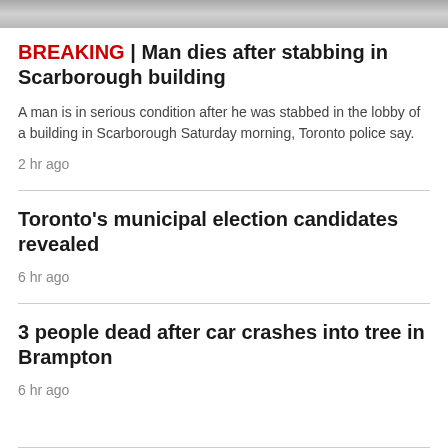[Figure (photo): Partial view of a person in dark clothing outdoors in winter/grey conditions]
BREAKING | Man dies after stabbing in Scarborough building
A man is in serious condition after he was stabbed in the lobby of a building in Scarborough Saturday morning, Toronto police say.
2 hr ago
Toronto's municipal election candidates revealed
6 hr ago
3 people dead after car crashes into tree in Brampton
6 hr ago